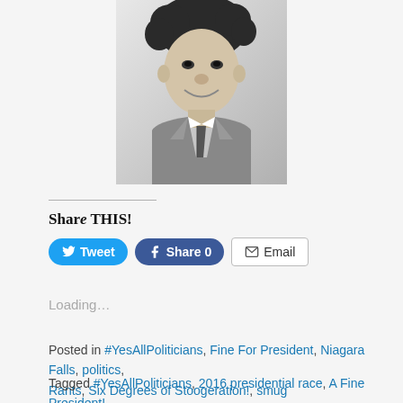[Figure (photo): Black and white portrait photo of a man with curly hair, smiling, wearing a suit and tie, centered at the top of the page]
Share THIS!
Tweet | Share 0 | Email
Loading...
Posted in #YesAllPoliticians, Fine For President, Niagara Falls, politics, Rants, Six Degrees of Stoogeration!, smug
Tagged #YesAllPoliticians, 2016 presidential race, A Fine President!, Bernie Sanders, careless words, Donald Trump, Hillary Clinton, Jeb Bush,